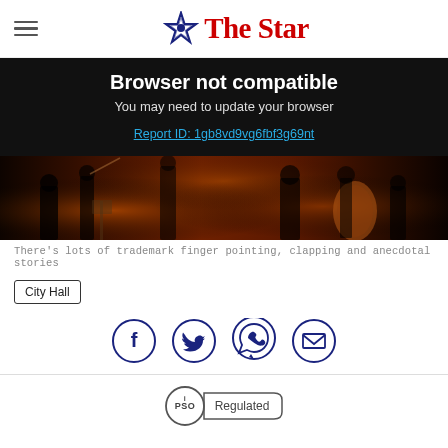The Star
Browser not compatible
You may need to update your browser
Report ID: 1gb8vd9vg6fbf3g69nt
[Figure (photo): Orchestra performers on stage with string instruments, dark atmospheric lighting with warm amber tones]
There's lots of trademark finger pointing, clapping and anecdotal stories
City Hall
[Figure (infographic): Social sharing icons: Facebook, Twitter, WhatsApp, Email — circular dark blue outlined buttons]
[Figure (logo): IPSO Regulated badge]